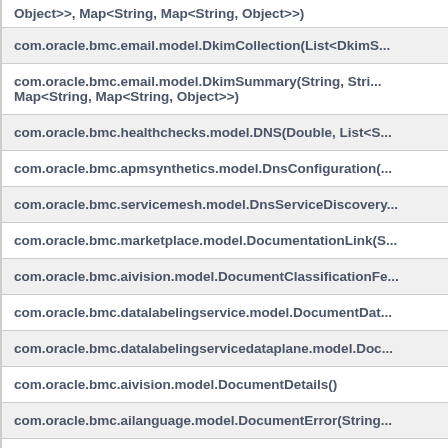| com.oracle.bmc.email.model.DkimSummary(String, String, String, String, ...Object>>, Map<String, Map<String, Object>>) |
| com.oracle.bmc.email.model.DkimCollection(List<DkimS... |
| com.oracle.bmc.email.model.DkimSummary(String, Stri... Map<String, Map<String, Object>>) |
| com.oracle.bmc.healthchecks.model.DNS(Double, List<S... |
| com.oracle.bmc.apmsynthetics.model.DnsConfiguration(... |
| com.oracle.bmc.servicemesh.model.DnsServiceDiscovery... |
| com.oracle.bmc.marketplace.model.DocumentationLink(S... |
| com.oracle.bmc.aivision.model.DocumentClassificationFe... |
| com.oracle.bmc.datalabelingservice.model.DocumentDat... |
| com.oracle.bmc.datalabelingservicedataplane.model.Doc... |
| com.oracle.bmc.aivision.model.DocumentDetails() |
| com.oracle.bmc.ailanguage.model.DocumentError(String... |
| com.oracle.bmc.aivision.model.DocumentFeature() |
| com.oracle.bmc.aivision.model.DocumentField(Documen... |
| com.oracle.bmc.aivision.model.DocumentJob(String, Str... |